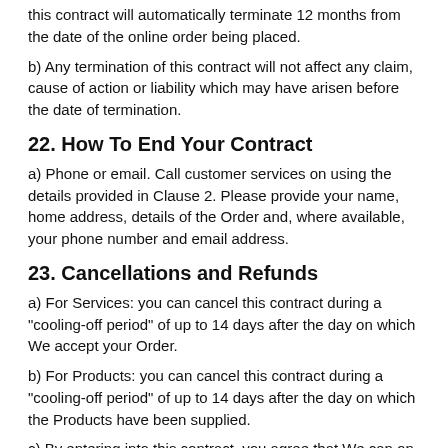this contract will automatically terminate 12 months from the date of the online order being placed.
b) Any termination of this contract will not affect any claim, cause of action or liability which may have arisen before the date of termination.
22. How To End Your Contract
a) Phone or email. Call customer services on using the details provided in Clause 2. Please provide your name, home address, details of the Order and, where available, your phone number and email address.
23. Cancellations and Refunds
a) For Services: you can cancel this contract during a "cooling-off period" of up to 14 days after the day on which We accept your Order.
b) For Products: you can cancel this contract during a "cooling-off period" of up to 14 days after the day on which the Products have been supplied.
c) By entering into this contract, you agree that We can on your request start work before your cooling-off period ends in